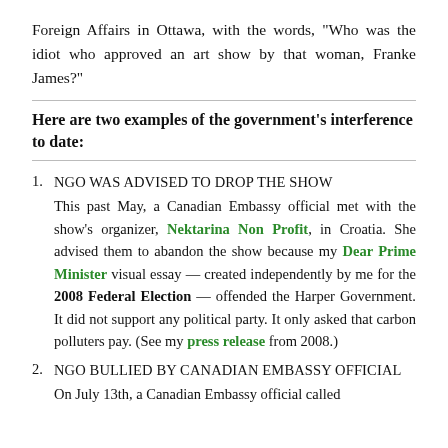Foreign Affairs in Ottawa, with the words, “Who was the idiot who approved an art show by that woman, Franke James?”
Here are two examples of the government’s interference to date:
NGO WAS ADVISED TO DROP THE SHOW
This past May, a Canadian Embassy official met with the show’s organizer, Nektarina Non Profit, in Croatia. She advised them to abandon the show because my Dear Prime Minister visual essay — created independently by me for the 2008 Federal Election — offended the Harper Government. It did not support any political party. It only asked that carbon polluters pay. (See my press release from 2008.)
NGO BULLIED BY CANADIAN EMBASSY OFFICIAL
On July 13th, a Canadian Embassy official called